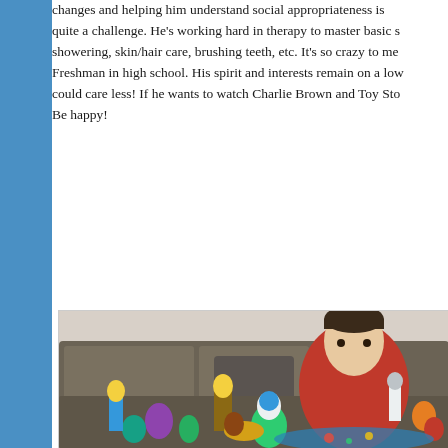changes and helping him understand social appropriateness is quite a challenge. He's working hard in therapy to master basic s showering, skin/hair care, brushing teeth, etc. It's so crazy to me Freshman in high school. His spirit and interests remain on a low could care less! If he wants to watch Charlie Brown and Toy Sto Be happy!
[Figure (photo): A boy wearing a red shirt sits on a brown couch surrounded by Toy Story character plush toys and figures including Buzz Lightyear, Woody, Forky, and others.]